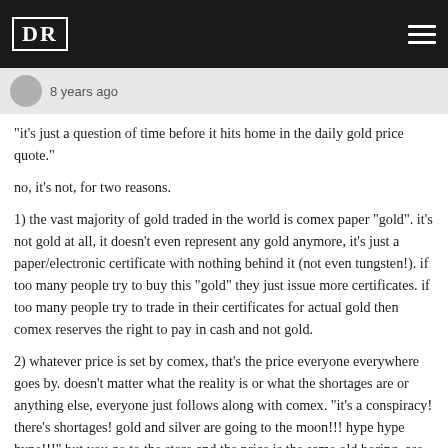DR
8 years ago
"it's just a question of time before it hits home in the daily gold price quote."
no, it's not, for two reasons.
1) the vast majority of gold traded in the world is comex paper "gold". it's not gold at all, it doesn't even represent any gold anymore, it's just a paper/electronic certificate with nothing behind it (not even tungsten!). if too many people try to buy this "gold" they just issue more certificates. if too many people try to trade in their certificates for actual gold then comex reserves the right to pay in cash and not gold.
2) whatever price is set by comex, that's the price everyone everywhere goes by. doesn't matter what the reality is or what the shortages are or anything else, everyone just follows along with comex. "it's a conspiracy! there's shortages! gold and silver are going to the moon!!! hype hype hype!!!" but you go to the store and the price is the same old boring, ass-ball comex price.